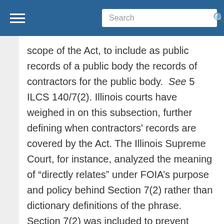Search
scope of the Act, to include as public records of a public body the records of contractors for the public body. See 5 ILCS 140/7(2). Illinois courts have weighed in on this subsection, further defining when contractors' records are covered by the Act. The Illinois Supreme Court, for instance, analyzed the meaning of “directly relates” under FOIA’s purpose and policy behind Section 7(2) rather than dictionary definitions of the phrase. Section 7(2) was included to prevent government entities from contracting to avoid their disclosure